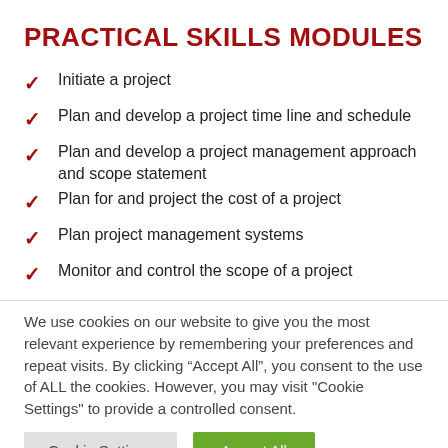PRACTICAL SKILLS MODULES
Initiate a project
Plan and develop a project time line and schedule
Plan and develop a project management approach and scope statement
Plan for and project the cost of a project
Plan project management systems
Monitor and control the scope of a project
We use cookies on our website to give you the most relevant experience by remembering your preferences and repeat visits. By clicking “Accept All”, you consent to the use of ALL the cookies. However, you may visit "Cookie Settings" to provide a controlled consent.